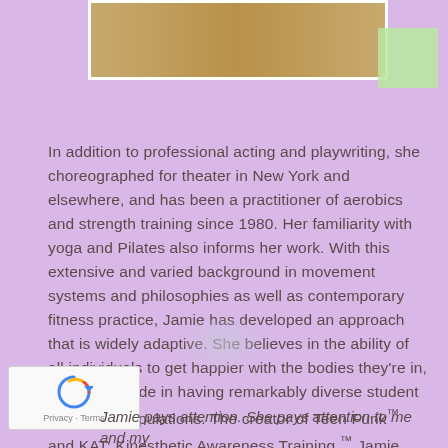[Figure (photo): Partial image of a wood-toned surface/bar at the top of the page, white-bordered, with a light green box overlay at right]
In addition to professional acting and playwriting, she choreographed for theater in New York and elsewhere, and has been a practitioner of aerobics and strength training since 1980. Her familiarity with yoga and Pilates also informs her work. With this extensive and varied background in movement systems and philosophies as well as contemporary fitness practice, Jamie has developed an approach that is widely adaptive. She believes in the ability of all individuals to get happier with the bodies they’re in, and takes pride in having remarkably diverse student and client populations. The creator of Teen Funk™ and KAT: Kinesthetic Awareness Training,™ Jamie has helped many hundreds of people look, feel, and move better.
Jamie pays attention. She pays attention to me and my